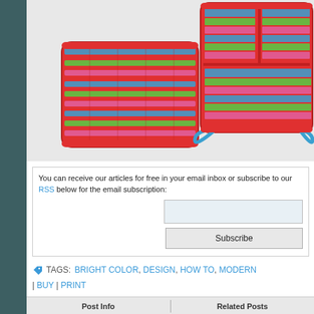[Figure (photo): Two colorful woven baskets made of plastic/rattan in bright colors – blue, green, pink, red stripes. Left basket is a flat tray, right basket is a deep caddy with dividers and a blue handle.]
You can receive our articles for free in your email inbox or subscribe to our RSS below for the email subscription:
Subscribe
TAGS: BRIGHT COLOR, DESIGN, HOW TO, MODERN
| BUY | PRINT
| Post Info | Related Posts |
| --- | --- |